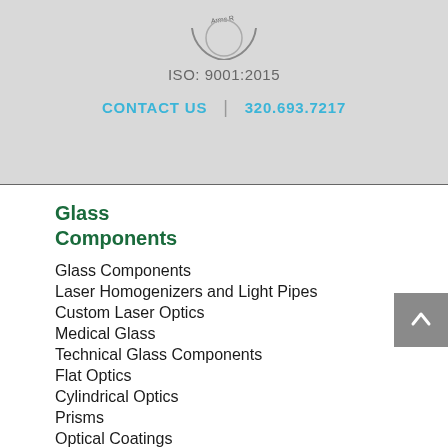[Figure (logo): Partial circular logo/seal at top, partially cut off, with text 'Arms R...' visible along arc]
ISO: 9001:2015
CONTACT US  |  320.693.7217
Glass Components
Glass Components
Laser Homogenizers and Light Pipes
Custom Laser Optics
Medical Glass
Technical Glass Components
Flat Optics
Cylindrical Optics
Prisms
Optical Coatings
Value-Adding Services